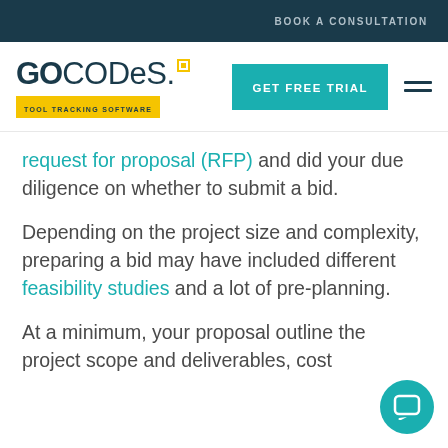BOOK A CONSULTATION
[Figure (logo): GoCodes Tool Tracking Software logo with teal GET FREE TRIAL button and hamburger menu]
request for proposal (RFP) and did your due diligence on whether to submit a bid.
Depending on the project size and complexity, preparing a bid may have included different feasibility studies and a lot of pre-planning.
At a minimum, your proposal outline the project scope and deliverables, cost